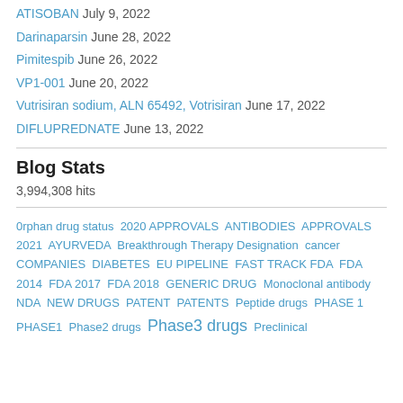ATISOBAN July 9, 2022
Darinaparsin June 28, 2022
Pimitespib June 26, 2022
VP1-001 June 20, 2022
Vutrisiran sodium, ALN 65492, Votrisiran June 17, 2022
DIFLUPREDNATE June 13, 2022
Blog Stats
3,994,308 hits
0rphan drug status 2020 APPROVALS ANTIBODIES APPROVALS 2021 AYURVEDA Breakthrough Therapy Designation cancer COMPANIES DIABETES EU PIPELINE FAST TRACK FDA FDA 2014 FDA 2017 FDA 2018 GENERIC DRUG Monoclonal antibody NDA NEW DRUGS PATENT PATENTS Peptide drugs PHASE 1 PHASE1 Phase2 drugs Phase3 drugs Preclinical